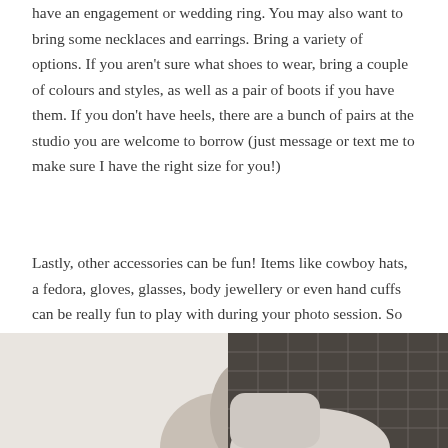have an engagement or wedding ring.  You may also want to bring some necklaces and earrings.  Bring a variety of options.  If you aren't sure what shoes to wear, bring a couple of colours and styles, as well as a pair of boots if you have them.  If you don't have heels, there are a bunch of pairs at the studio you are welcome to borrow (just message or text me to make sure I have the right size for you!)
Lastly, other accessories can be fun!  Items like cowboy hats, a fedora, gloves, glasses, body jewellery or even hand cuffs can be really fun to play with during your photo session.  So get creative!  If you aren't sure, bring it and we can create your looks together.
[Figure (photo): Partial photo at bottom of page showing what appears to be a hand or accessory item against a light background, with a dark grid-patterned surface on the right side]